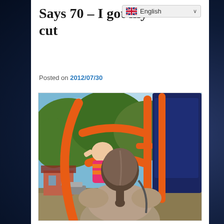Says 70 – I got my cut
Posted on 2012/07/30
[Figure (photo): Outdoor playground scene showing a child in a pink and orange striped top climbing on orange playground equipment, and an adult with a grey ponytail in a beige jacket standing in the foreground, with trees and a house visible in the background.]